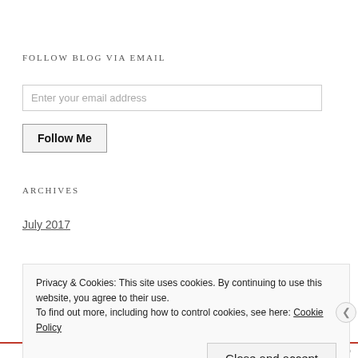FOLLOW BLOG VIA EMAIL
Enter your email address
Follow Me
ARCHIVES
July 2017
Privacy & Cookies: This site uses cookies. By continuing to use this website, you agree to their use.
To find out more, including how to control cookies, see here: Cookie Policy
Close and accept